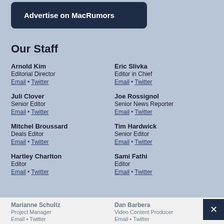[Figure (other): Dark navy button labeled 'Advertise on MacRumors']
Our Staff
Arnold Kim
Editorial Director
Email • Twitter
Eric Slivka
Editor in Chief
Email • Twitter
Juli Clover
Senior Editor
Email • Twitter
Joe Rossignol
Senior News Reporter
Email • Twitter
Mitchel Broussard
Deals Editor
Email • Twitter
Tim Hardwick
Senior Editor
Email • Twitter
Hartley Charlton
Editor
Email • Twitter
Sami Fathi
Editor
Email • Twitter
Marianne Schultz
Project Manager
Email • Twitter
Dan Barbera
Video Content Producer
Email • Twitter